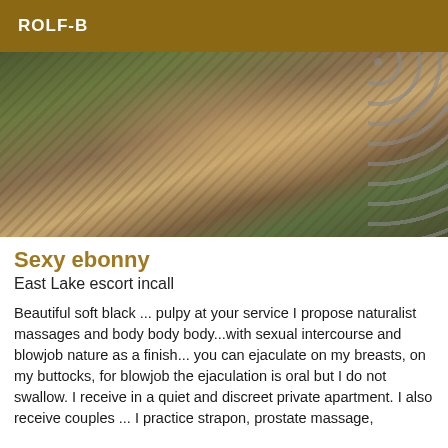ROLF-B
[Figure (photo): Close-up photo of a person wearing a dark patterned outfit with circle/eyelet details on the right side, showing textured dark fabric and skin tones.]
Sexy ebonny
East Lake escort incall
Beautiful soft black ... pulpy at your service I propose naturalist massages and body body body...with sexual intercourse and blowjob nature as a finish... you can ejaculate on my breasts, on my buttocks, for blowjob the ejaculation is oral but I do not swallow. I receive in a quiet and discreet private apartment. I also receive couples ... I practice strapon, prostate massage,